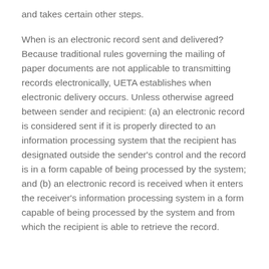and takes certain other steps.
When is an electronic record sent and delivered? Because traditional rules governing the mailing of paper documents are not applicable to transmitting records electronically, UETA establishes when electronic delivery occurs. Unless otherwise agreed between sender and recipient: (a) an electronic record is considered sent if it is properly directed to an information processing system that the recipient has designated outside the sender's control and the record is in a form capable of being processed by the system; and (b) an electronic record is received when it enters the receiver's information processing system in a form capable of being processed by the system and from which the recipient is able to retrieve the record.